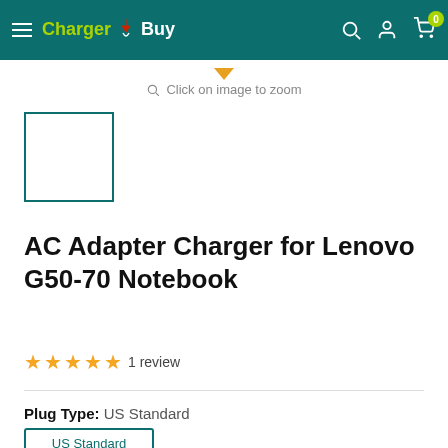ChargerBuy — navigation bar with hamburger menu, logo, search, account, and cart icons
Click on image to zoom
[Figure (photo): Small product thumbnail image placeholder with teal border]
AC Adapter Charger for Lenovo G50-70 Notebook
1 review
Plug Type: US Standard
US Standard